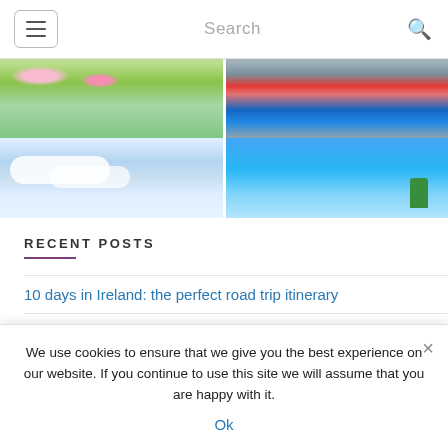Search
[Figure (photo): Four-panel photo grid: top-left green meadow with pink flowers, top-right hiker in red jacket on rocky terrain, bottom-left cloudy light blue sky, bottom-right bright blue sky with trees]
RECENT POSTS
10 days in Ireland: the perfect road trip itinerary
Best of windy island Lanzarote
We use cookies to ensure that we give you the best experience on our website. If you continue to use this site we will assume that you are happy with it.
Ok